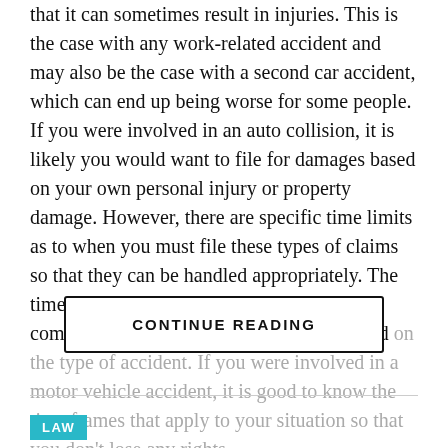that it can sometimes result in injuries. This is the case with any work-related accident and may also be the case with a second car accident, which can end up being worse for some people. If you were involved in an auto collision, it is likely you would want to file for damages based on your own personal injury or property damage. However, there are specific time limits as to when you must file these types of claims so that they can be handled appropriately. The time limitations on when you can claim compensation for an accident can vary based on the type of accident. If you were involved in a motor vehicle accident, it is good to know the time frames that apply to your situation so that you don't lose any rights.
CONTINUE READING
LAW